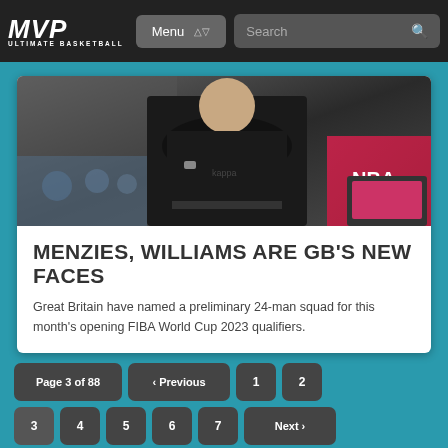MVP ULTIMATE BASKETBALL — Menu | Search
[Figure (photo): Basketball coach or referee in black shirt with arms crossed, crowd and screens visible in background]
MENZIES, WILLIAMS ARE GB'S NEW FACES
Great Britain have named a preliminary 24-man squad for this month's opening FIBA World Cup 2023 qualifiers.
Page 3 of 88 | ‹ Previous | 1 | 2 | 3 | 4 | 5 | 6 | 7 | Next › | Last »